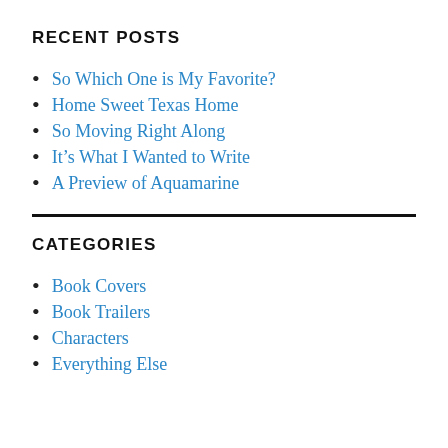RECENT POSTS
So Which One is My Favorite?
Home Sweet Texas Home
So Moving Right Along
It’s What I Wanted to Write
A Preview of Aquamarine
CATEGORIES
Book Covers
Book Trailers
Characters
Everything Else